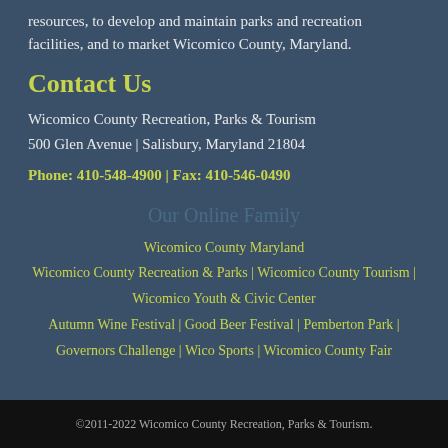resources, to develop and maintain parks and recreation facilities, and to market Wicomico County, Maryland.
Contact Us
Wicomico County Recreation, Parks & Tourism
500 Glen Avenue | Salisbury, Maryland 21804
Phone: 410-548-4900 | Fax: 410-546-0490
Our Online Family
Wicomico County Maryland
Wicomico County Recreation & Parks | Wicomico County Tourism | Wicomico Youth & Civic Center
Autumn Wine Festival | Good Beer Festival | Pemberton Park | Governors Challenge | Wico Sports | Wicomico County Fair
©2011-2022 Wicomico County Recreation, Parks & Tourism.